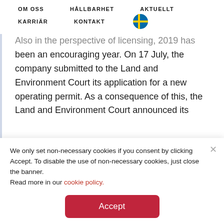OM OSS   HÅLLBARHET   AKTUELLT   KARRIÄR   KONTAKT
Also in the perspective of licensing, 2019 has been an encouraging year. On 17 July, the company submitted to the Land and Environment Court its application for a new operating permit. As a consequence of this, the Land and Environment Court announced its
We only set non-necessary cookies if you consent by clicking Accept. To disable the use of non-necessary cookies, just close the banner. Read more in our cookie policy.
Accept